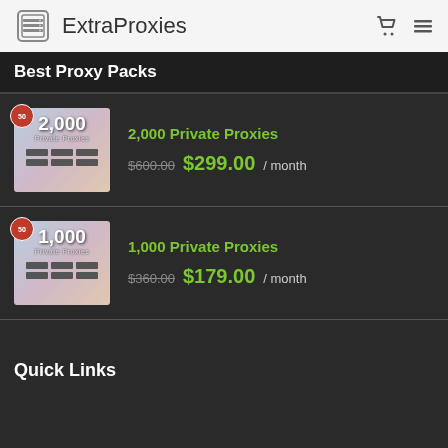ExtraProxies
Best Proxy Packs
[Figure (illustration): Product thumbnail for 2,000 Private Proxies with a '50' badge]
2,000 Private Proxies  $600.00  $299.00 / month
[Figure (illustration): Product thumbnail for 1,000 Private Proxies with a '50' badge]
1,000 Private Proxies  $360.00  $179.00 / month
Quick Links